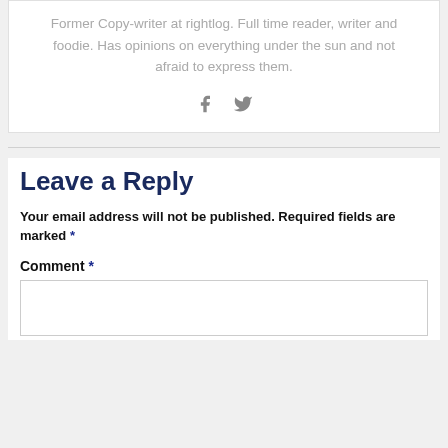Former Copy-writer at rightlog. Full time reader, writer and foodie. Has opinions on everything under the sun and not afraid to express them.
[Figure (other): Social media icons: Facebook and Twitter]
Leave a Reply
Your email address will not be published. Required fields are marked *
Comment *